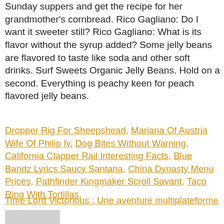Sunday suppers and get the recipe for her grandmother's cornbread. Rico Gagliano: Do I want it sweeter still? Rico Gagliano: What is its flavor without the syrup added? Some jelly beans are flavored to taste like soda and other soft drinks. Surf Sweets Organic Jelly Beans. Hold on a second. Everything is peachy keen for peach flavored jelly beans.
Dropper Rig For Sheepshead, Mariana Of Austria Wife Of Philip Iv, Dog Bites Without Warning, California Clapper Rail Interesting Facts, Blue Bandz Lyrics Saucy Santana, China Dynasty Menu Prices, Pathfinder Kingmaker Scroll Savant, Taco Ring With Tortillas,
Time Lord Victorious : Une aventure multiplateforme
[Figure (illustration): Generic user avatar icon — gray background with a white silhouette of a person (head circle and body arc)]